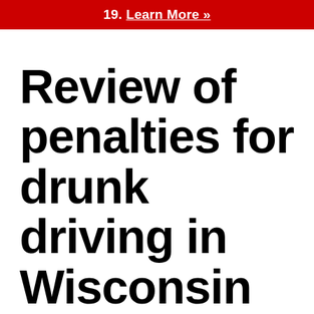19. Learn More »
Review of penalties for drunk driving in Wisconsin
On behalf of J. Kippa Law, LLC | February 14, 2019